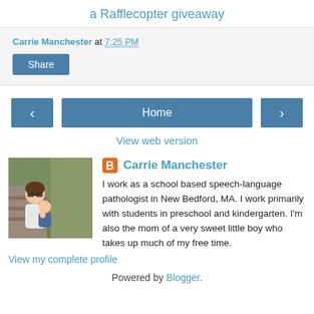a Rafflecopter giveaway
Carrie Manchester at 7:25 PM
Share
Home
View web version
Carrie Manchester
[Figure (photo): Profile photo of Carrie Manchester holding a child outdoors]
I work as a school based speech-language pathologist in New Bedford, MA. I work primarily with students in preschool and kindergarten. I'm also the mom of a very sweet little boy who takes up much of my free time.
View my complete profile
Powered by Blogger.